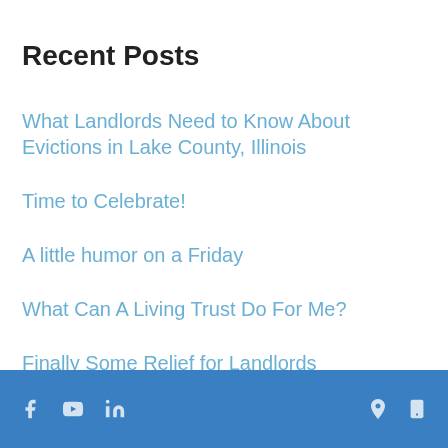Recent Posts
What Landlords Need to Know About Evictions in Lake County, Illinois
Time to Celebrate!
A little humor on a Friday
What Can A Living Trust Do For Me?
Finally Some Relief for Landlords
Social icons (Facebook, YouTube, LinkedIn), map pin icon, mobile icon